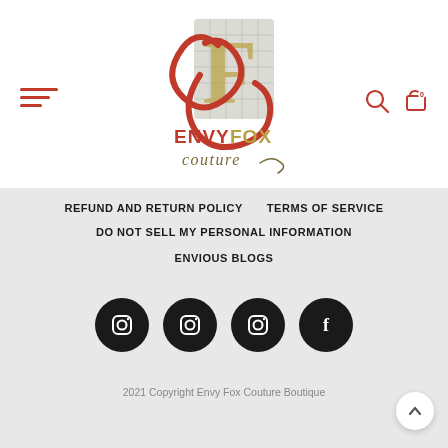[Figure (logo): Envy Fox Couture Boutique logo with stylized E and C letters, text ENVYFOX couture]
REFUND AND RETURN POLICY    TERMS OF SERVICE
DO NOT SELL MY PERSONAL INFORMATION
ENVIOUS BLOGS
[Figure (illustration): Four social media icons in dark circles: three Instagram icons and one Facebook icon]
2021 Copyright Envy Fox Couture Boutique